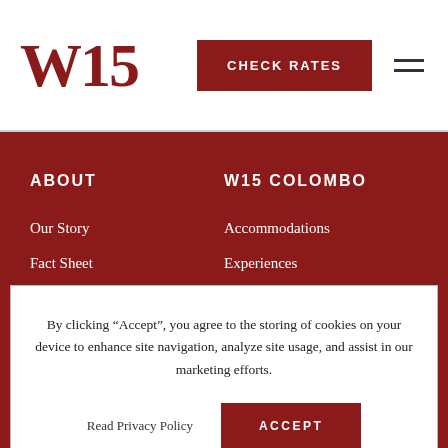W15
CHECK RATES
ABOUT
W15 COLOMBO
Our Story
Fact Sheet
Accommodations
Experiences
By clicking “Accept”, you agree to the storing of cookies on your device to enhance site navigation, analyze site usage, and assist in our marketing efforts.
Read Privacy Policy
ACCEPT